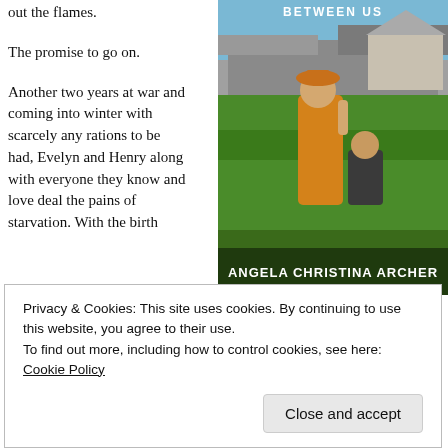out the flames.
The promise to go on.
Another two years at war and coming into winter with scarcely any rations to be had, Evelyn and Henry along with everyone they know and love deal the pains of starvation. With the birth of their second child approaching, the couple celebrates with
[Figure (photo): Book cover showing two children in a field with stone buildings. Title text partially visible at top reading 'BETWEEN US'. Author name 'ANGELA CHRISTINA ARCHER' shown at bottom.]
Privacy & Cookies: This site uses cookies. By continuing to use this website, you agree to their use.
To find out more, including how to control cookies, see here: Cookie Policy
Close and accept